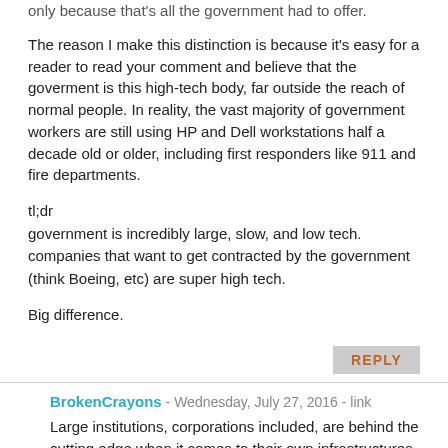only because that's all the government had to offer.
The reason I make this distinction is because it's easy for a reader to read your comment and believe that the goverment is this high-tech body, far outside the reach of normal people. In reality, the vast majority of government workers are still using HP and Dell workstations half a decade old or older, including first responders like 911 and fire departments.
tl;dr
government is incredibly large, slow, and low tech.
companies that want to get contracted by the government (think Boeing, etc) are super high tech.
Big difference.
REPLY
BrokenCrayons - Wednesday, July 27, 2016 - link
Large institutions, corporations included, are behind the cutting edge when it comes to their own infrastructures and information technologies. While those companies are indeed developing advanced devices that do amazing things, their employees are usually performing daily work on relatively old hardware supported by older network plumbing and dated server farms. The corporate world is staring down the same